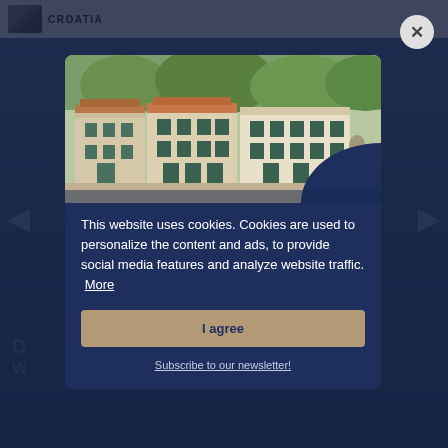[Figure (screenshot): Croatia travel website background with dark navy overlay and a modal popup dialog containing a cookie consent notice and newsletter subscription prompt. The modal shows a photo of Mediterranean-style buildings with terracotta roofs and green shutters, followed by cookie consent text and an I agree button, overlaid with a 'Get the hottest Summer Offers!' promotion and a 'Subscribe to our newsletter!' link.]
This website uses cookies. Cookies are used to personalize the content and ads, to provide social media features and analyze website traffic.  More
I agree
Get the hottest Summer Offers!
Subscribe to our newsletter!